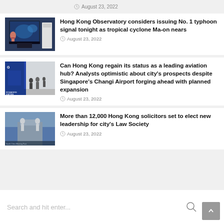August 23, 2022
[Figure (photo): TV screen showing weather map with presenter]
Hong Kong Observatory considers issuing No. 1 typhoon signal tonight as tropical cyclone Ma-on nears
August 23, 2022
[Figure (photo): Airport terminal with passengers and blue signage]
Can Hong Kong regain its status as a leading aviation hub? Analysts optimistic about city's prospects despite Singapore's Changi Airport forging ahead with planned expansion
August 23, 2022
[Figure (photo): Statues on building exterior, court or law-related building]
More than 12,000 Hong Kong solicitors set to elect new leadership for city's Law Society
August 23, 2022
Search and hit enter...